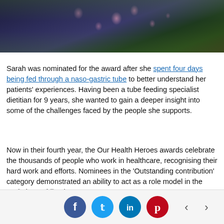[Figure (photo): Woman wearing a dark navy floral dress with pink flowers, photographed outdoors with colorful flowers in the background. Only the torso/body is visible, not the face.]
Sarah was nominated for the award after she spent four days being fed through a naso-gastric tube to better understand her patients' experiences. Having been a tube feeding specialist dietitian for 9 years, she wanted to gain a deeper insight into some of the challenges faced by the people she supports.
Now in their fourth year, the Our Health Heroes awards celebrate the thousands of people who work in healthcare, recognising their hard work and efforts. Nominees in the 'Outstanding contribution' category demonstrated an ability to act as a role model in the workplace while always
[Figure (infographic): Social sharing bar with Facebook, Twitter, LinkedIn, Pinterest buttons and left/right navigation arrows]